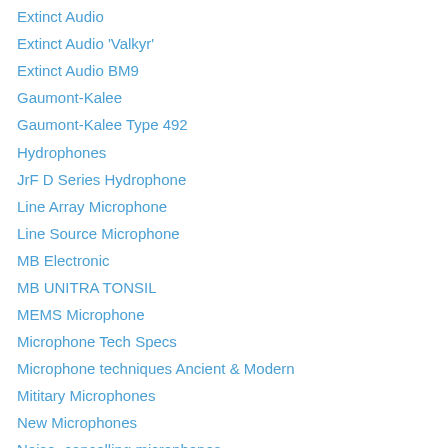Extinct Audio
Extinct Audio 'Valkyr'
Extinct Audio BM9
Gaumont-Kalee
Gaumont-Kalee Type 492
Hydrophones
JrF D Series Hydrophone
Line Array Microphone
Line Source Microphone
MB Electronic
MB UNITRA TONSIL
MEMS Microphone
Microphone Tech Specs
Microphone techniques Ancient & Modern
Mititary Microphones
New Microphones
Noise- cancelling microphones
Omni directional PA Microphone
Parabolic Microphone
Philips LBB9050/05